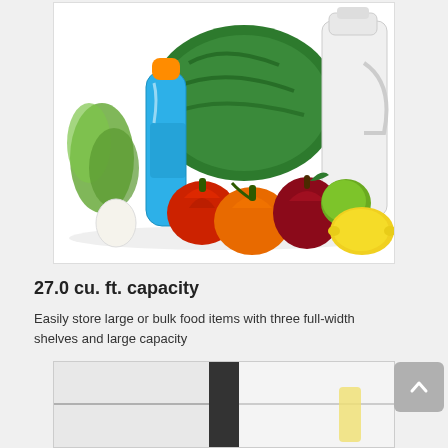[Figure (photo): Photo of various groceries including a watermelon, blue sports drink bottle, red and orange bell peppers, apple, lemon, lime, egg, leafy greens, and a white milk jug on a white background.]
27.0 cu. ft. capacity
Easily store large or bulk food items with three full-width shelves and large capacity
[Figure (photo): Partial photo showing the interior or exterior of a refrigerator in white and black.]